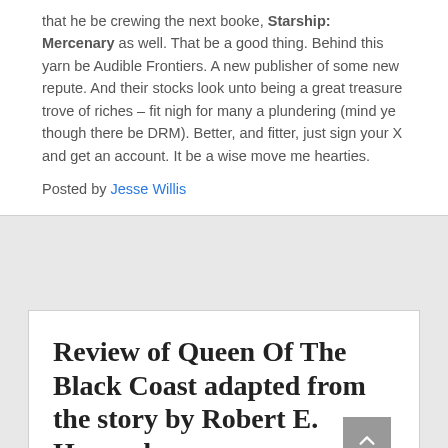that he be crewing the next booke, Starship: Mercenary as well. That be a good thing. Behind this yarn be Audible Frontiers. A new publisher of some new repute. And their stocks look unto being a great treasure trove of riches – fit nigh for many a plundering (mind ye though there be DRM). Better, and fitter, just sign your X and get an account. It be a wise move me hearties.
Posted by Jesse Willis
Review of Queen Of The Black Coast adapted from the story by Robert E. Howard